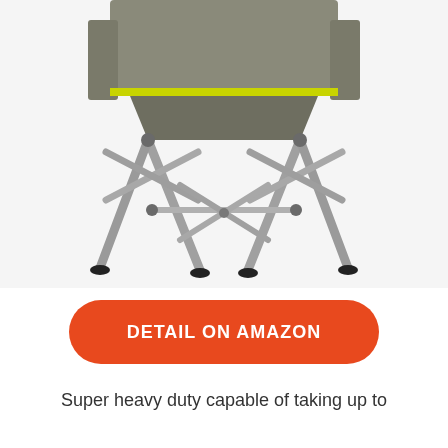[Figure (photo): Close-up photo of a folding camping chair with gray fabric, yellow-green accent trim, and silver metal X-frame legs with black plastic feet caps, photographed against a white background.]
DETAIL ON AMAZON
Super heavy duty capable of taking up to